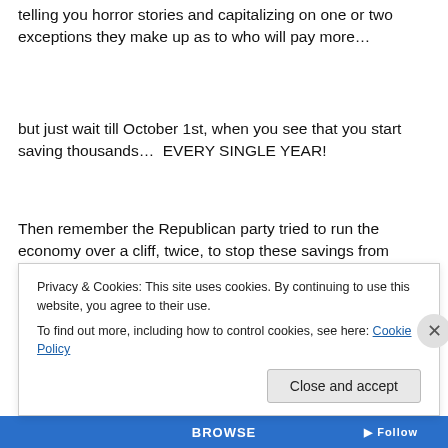telling you horror stories and capitalizing on one or two exceptions they make up as to who will pay more…
but just wait till October 1st, when you see that you start saving thousands…  EVERY SINGLE YEAR!
Then remember the Republican party tried to run the economy over a cliff, twice, to stop these savings from coming to you…..
October 1st, it is almost here.  About time for the pirated version to be leaked…don't you think?
Privacy & Cookies: This site uses cookies. By continuing to use this website, you agree to their use.
To find out more, including how to control cookies, see here: Cookie Policy
Close and accept